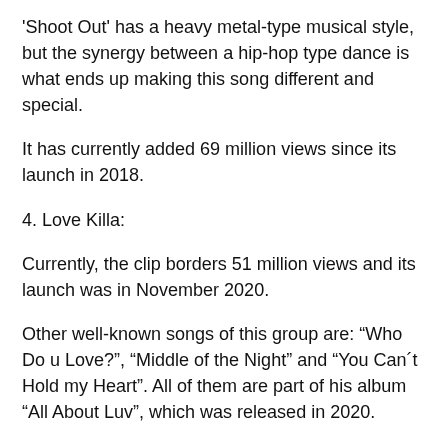'Shoot Out' has a heavy metal-type musical style, but the synergy between a hip-hop type dance is what ends up making this song different and special.
It has currently added 69 million views since its launch in 2018.
4. Love Killa:
Currently, the clip borders 51 million views and its launch was in November 2020.
Other well-known songs of this group are: “Who Do u Love?”, “Middle of the Night” and “You Can´t Hold my Heart”. All of them are part of his album “All About Luv”, which was released in 2020.
A relevant fact is that the last three songs placed them at number 5 on the Billboard 200 list.